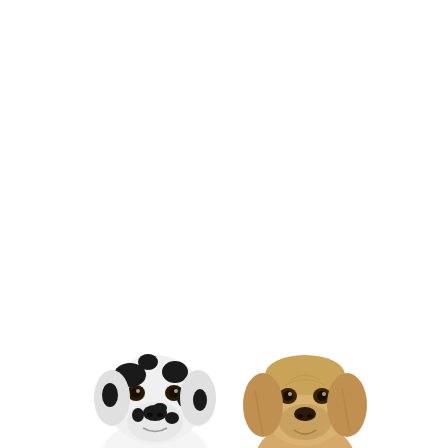[Figure (photo): Two dogs photographed against a white background. On the left is a Dalmatian dog with a white coat and large black spots, showing its head and upper body. On the right is a Golden Retriever puppy with a light golden/cream colored fluffy coat, also showing its head and upper body. Both dogs appear at the bottom portion of the image, with large white space above them.]